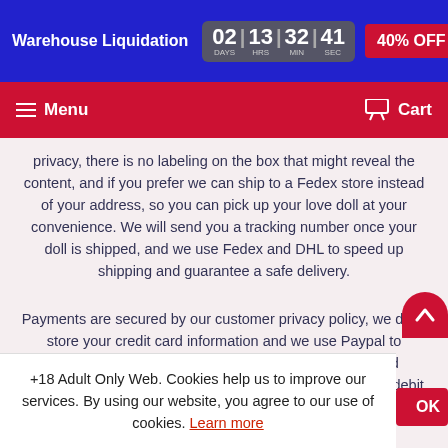Warehouse Liquidation | 02 DAYS | 13 HRS | 32 MIN | 41 SEC | 40% OFF
Menu | Cart
privacy, there is no labeling on the box that might reveal the content, and if you prefer we can ship to a Fedex store instead of your address, so you can pick up your love doll at your convenience. We will send you a tracking number once your doll is shipped, and we use Fedex and DHL to speed up shipping and guarantee a safe delivery.
Payments are secured by our customer privacy policy, we don't store your credit card information and we use Paypal to guarantee and protect your credit card information and payments (no Paypal account required, you can pay with debit and credit card). If you prefer to use a bank wire, please co...
+18 Adult Only Web. Cookies help us to improve our services. By using our website, you agree to our use of cookies. Learn more